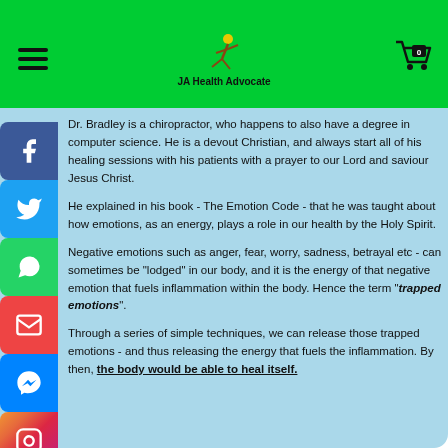JA Health Advocate
Dr. Bradley is a chiropractor, who happens to also have a degree in computer science. He is a devout Christian, and always start all of his healing sessions with his patients with a prayer to our Lord and saviour Jesus Christ.
He explained in his book - The Emotion Code - that he was taught about how emotions, as an energy, plays a role in our health by the Holy Spirit.
Negative emotions such as anger, fear, worry, sadness, betrayal etc - can sometimes be "lodged" in our body, and it is the energy of that negative emotion that fuels inflammation within the body. Hence the term "trapped emotions".
Through a series of simple techniques, we can release those trapped emotions - and thus releasing the energy that fuels the inflammation. By then, the body would be able to heal itself.